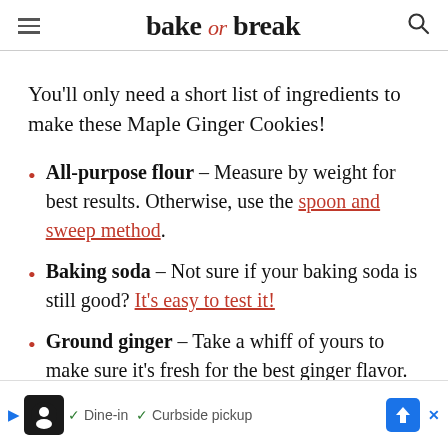bake or break
You'll only need a short list of ingredients to make these Maple Ginger Cookies!
All-purpose flour – Measure by weight for best results. Otherwise, use the spoon and sweep method.
Baking soda – Not sure if your baking soda is still good? It's easy to test it!
Ground ginger – Take a whiff of yours to make sure it's fresh for the best ginger flavor.
Gro... [faded] ...on for f... [ad overlay]